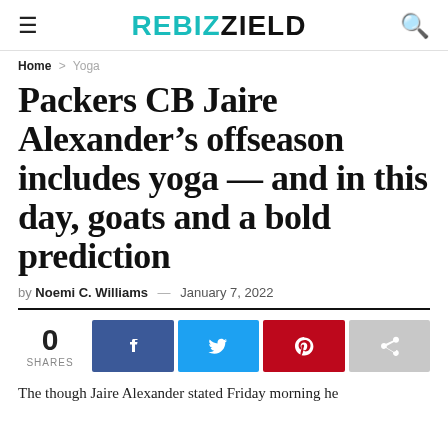REBIZZIELD
Home > Yoga
Packers CB Jaire Alexander’s offseason includes yoga — and in this day, goats and a bold prediction
by Noemi C. Williams — January 7, 2022
0 SHARES
The though Jaire Alexander stated Friday morning he...